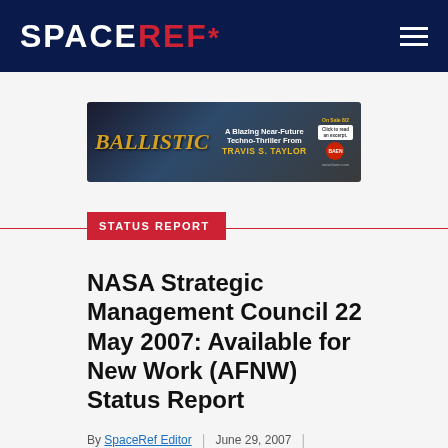SPACEREF*
[Figure (other): Advertisement banner for BALLISTIC book by Travis S. Taylor — A Blazing Near-Future Techno-Thriller]
STATUS REPORT
NASA Strategic Management Council 22 May 2007: Available for New Work (AFNW) Status Report
By SpaceRef Editor | June 29, 2007
Filed under NASA HQ, US